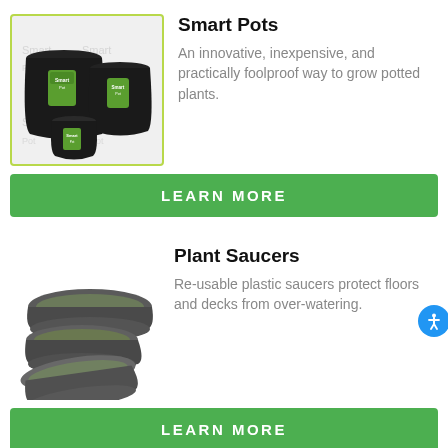[Figure (photo): Photo of black fabric Smart Pots grow bags with green labels, multiple sizes grouped together, on a watermarked background]
Smart Pots
An innovative, inexpensive, and practically foolproof way to grow potted plants.
LEARN MORE
[Figure (photo): Photo of dark grey/green re-usable plastic plant saucers, multiple sizes stacked and fanned out]
Plant Saucers
Re-usable plastic saucers protect floors and decks from over-watering.
LEARN MORE